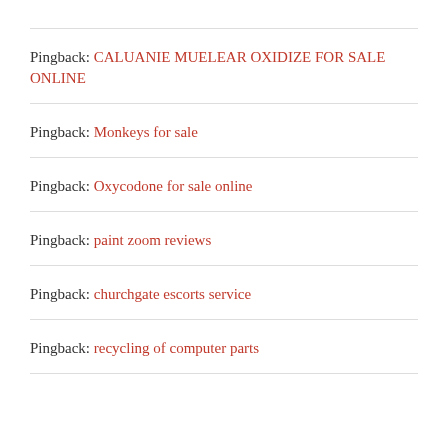Pingback: CALUANIE MUELEAR OXIDIZE FOR SALE ONLINE
Pingback: Monkeys for sale
Pingback: Oxycodone for sale online
Pingback: paint zoom reviews
Pingback: churchgate escorts service
Pingback: recycling of computer parts